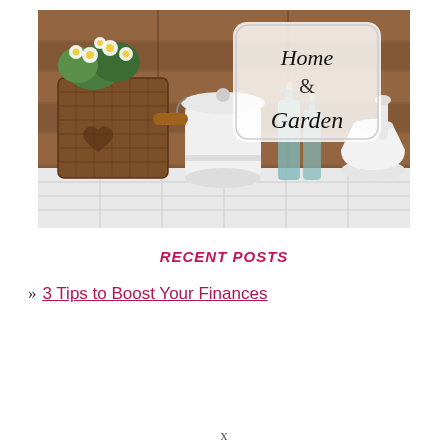[Figure (photo): Home & Garden styled photo showing a wicker basket with white daisy flowers, a white enamel pot with wooden handle, two teal glass bottles, a white mortar and pestle, all arranged on a white tiled surface against a rustic wooden wall background. A decorative label in the upper right reads 'Home & Garden'.]
RECENT POSTS
3 Tips to Boost Your Finances
x